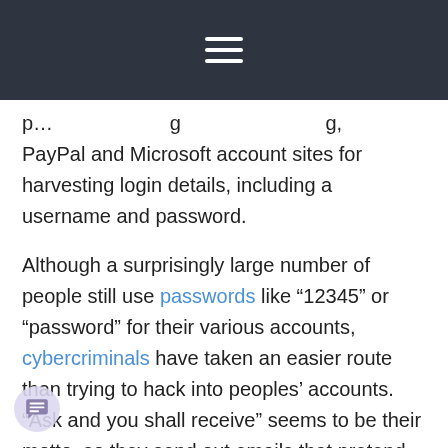[hamburger menu icon]
p...g ... g, PayPal and Microsoft account sites for harvesting login details, including a username and password.
Although a surprisingly large number of people still use passwords like “12345” or “password” for their various accounts, cybercriminals have taken an easier route than trying to hack into peoples’ accounts. “Ask and you shall receive” seems to be their motto, so they send out emails that pretend to be coming from legitimate sites, notify the user of some unusual activity, and ask them to confirm or deny that activity by “signing into the service”.